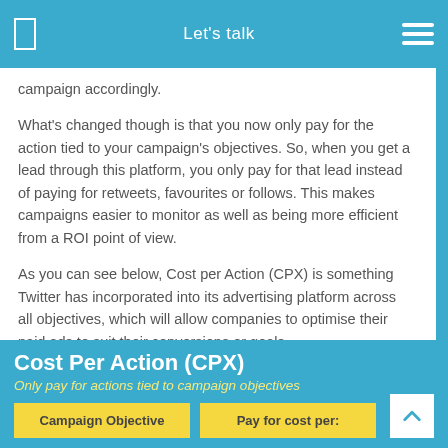Let's talk
campaign accordingly.
What's changed though is that you now only pay for the action tied to your campaign's objectives. So, when you get a lead through this platform, you only pay for that lead instead of paying for retweets, favourites or follows. This makes campaigns easier to monitor as well as being more efficient from a ROI point of view.
As you can see below, Cost per Action (CPX) is something Twitter has incorporated into its advertising platform across all objectives, which will allow companies to optimise their paid ads to suit their conversions or goals.
Cost Per Action (CPX)
Only pay for actions tied to campaign objectives
| Campaign Objective | Pay for cost per: |
| --- | --- |